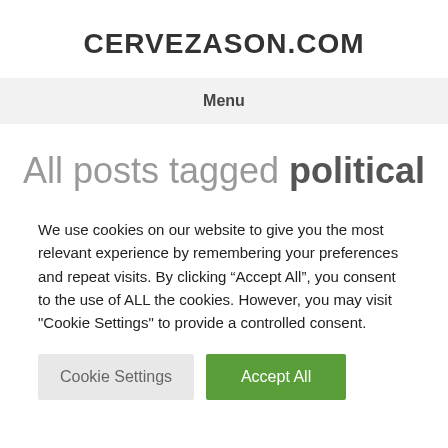CERVEZASON.COM
Menu
All posts tagged political
We use cookies on our website to give you the most relevant experience by remembering your preferences and repeat visits. By clicking “Accept All”, you consent to the use of ALL the cookies. However, you may visit "Cookie Settings" to provide a controlled consent.
Cookie Settings | Accept All